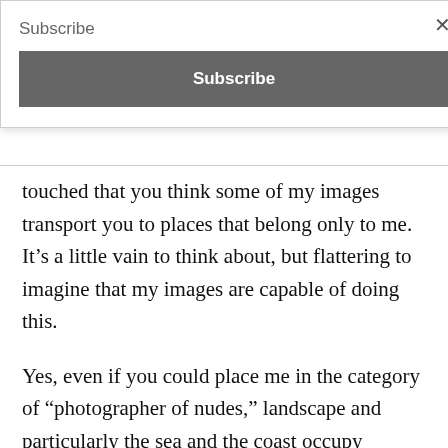Subscribe
Subscribe
touched that you think some of my images transport you to places that belong only to me. It’s a little vain to think about, but flattering to imagine that my images are capable of doing this.
Yes, even if you could place me in the category of “photographer of nudes,” landscape and particularly the sea and the coast occupy another large portion of my work. But there too, the “where” and the “when” don’t generally interest me when I photograph a place (save in the case of Places of Memory which